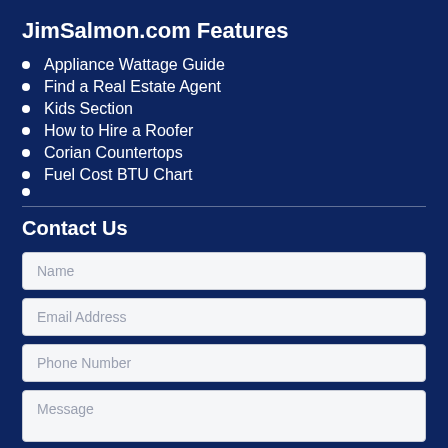JimSalmon.com Features
Appliance Wattage Guide
Find a Real Estate Agent
Kids Section
How to Hire a Roofer
Corian Countertops
Fuel Cost BTU Chart
Contact Us
Name
Email Address
Phone Number
Message